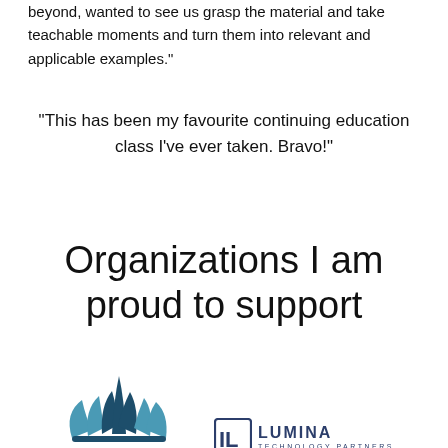beyond, wanted to see us grasp the material and take teachable moments and turn them into relevant and applicable examples.”
“This has been my favourite continuing education class I’ve ever taken. Bravo!”
Organizations I am proud to support
[Figure (logo): Mount Royal University logo — geometric teal and dark blue lotus/crown shape above text MOUNT ROYAL]
[Figure (logo): Lumina Technology Partners logo — square bracket monogram IL with LUMINA TECHNOLOGY PARTNERS text]